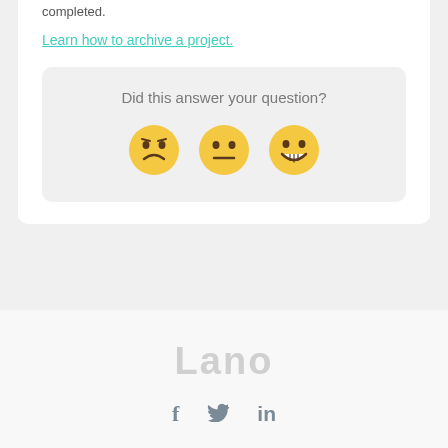completed.
Learn how to archive a project.
Did this answer your question?
[Figure (illustration): Three emoji faces: disappointed/frowning, neutral, and happy/smiling]
Lano — with Facebook, Twitter, and LinkedIn social icons